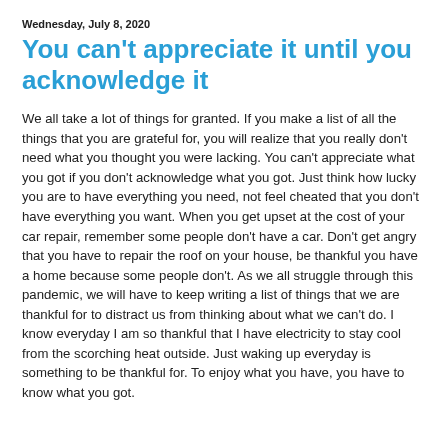Wednesday, July 8, 2020
You can't appreciate it until you acknowledge it
We all take a lot of things for granted. If you make a list of all the things that you are grateful for, you will realize that you really don't need what you thought you were lacking. You can't appreciate what you got if you don't acknowledge what you got. Just think how lucky you are to have everything you need, not feel cheated that you don't have everything you want. When you get upset at the cost of your car repair, remember some people don't have a car. Don't get angry that you have to repair the roof on your house, be thankful you have a home because some people don't. As we all struggle through this pandemic, we will have to keep writing a list of things that we are thankful for to distract us from thinking about what we can't do. I know everyday I am so thankful that I have electricity to stay cool from the scorching heat outside. Just waking up everyday is something to be thankful for. To enjoy what you have, you have to know what you got.